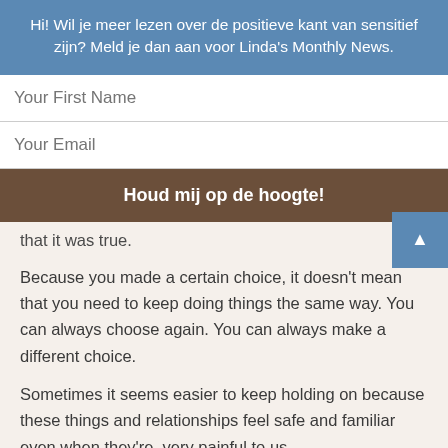Hi! Wil je meer lezen over de positieve kant van sensitief zijn? Meld je dan aan voor Linda's Monthly News.
Your First Name
Your Email
Houd mij op de hoogte!
that it was true.
Because you made a certain choice, it doesn't mean that you need to keep doing things the same way. You can always choose again. You can always make a different choice.
Sometimes it seems easier to keep holding on because these things and relationships feel safe and familiar even when they're  very painful to us.
But how can you receive something new when your hands are full with holding on to these old memories? There comes a time